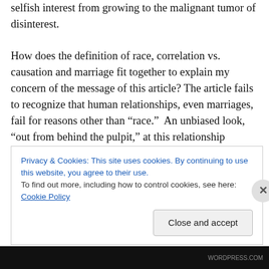selfish interest from growing to the malignant tumor of disinterest.
How does the definition of race, correlation vs. causation and marriage fit together to explain my concern of the message of this article? The article fails to recognize that human relationships, even marriages, fail for reasons other than “race.”  An unbiased look, “out from behind the pulpit,” at this relationship between Ruiz and Valdes would have had to eliminate all other causal factors to provide that this was a racial issue. The author hints at this though it is a small paragraph within the long and overstated
Privacy & Cookies: This site uses cookies. By continuing to use this website, you agree to their use.
To find out more, including how to control cookies, see here: Cookie Policy